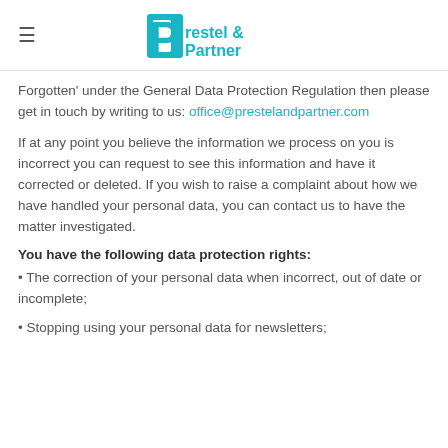≡  Prestel & Partner
Forgotten' under the General Data Protection Regulation then please get in touch by writing to us: office@prestelandpartner.com
If at any point you believe the information we process on you is incorrect you can request to see this information and have it corrected or deleted. If you wish to raise a complaint about how we have handled your personal data, you can contact us to have the matter investigated.
You have the following data protection rights:
The correction of your personal data when incorrect, out of date or incomplete;
Stopping using your personal data for newsletters;